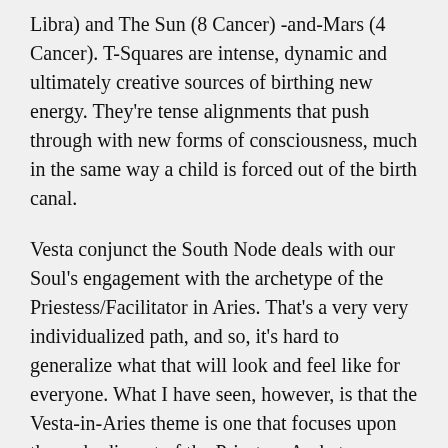Libra) and The Sun (8 Cancer) -and-Mars (4 Cancer). T-Squares are intense, dynamic and ultimately creative sources of birthing new energy. They're tense alignments that push through with new forms of consciousness, much in the same way a child is forced out of the birth canal.
Vesta conjunct the South Node deals with our Soul's engagement with the archetype of the Priestess/Facilitator in Aries. That's a very very individualized path, and so, it's hard to generalize what that will look and feel like for everyone. What I have seen, however, is that the Vesta-in-Aries theme is one that focuses upon the embodiment of the Priestess Archetype.
Up to a certain point, the Path tends to need the explicit expression and declaration of (I AM SHE). I...